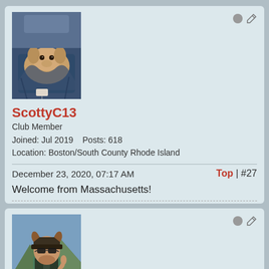[Figure (photo): Avatar photo of a dog (greyhound/whippet) wrapped in a blue blanket or sleeping bag, looking up at the camera.]
ScottyC13
Club Member
Joined: Jul 2019    Posts: 618
Location: Boston/South County Rhode Island
December 23, 2020, 07:17 AM
Top | #27
Welcome from Massachusetts!
[Figure (photo): Avatar photo of a man wearing sunglasses and a cap, outdoors with mountains and water in background, giving thumbs up.]
Spinaker